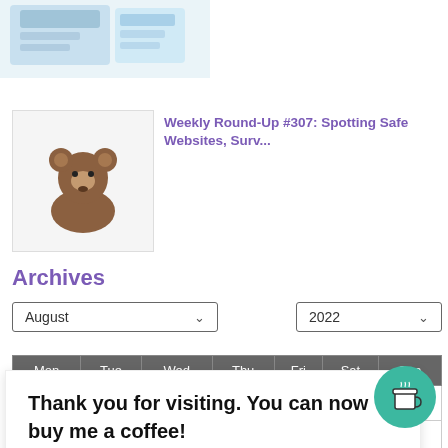[Figure (illustration): Partial top banner/logo image with colorful illustrated design, partially visible at top of page]
[Figure (photo): Thumbnail photo of a brown teddy bear sitting against a white background]
Weekly Round-Up #307: Spotting Safe Websites, Surv...
Archives
August (dropdown) 2022 (dropdown)
| Mon | Tue | Wed | Thu | Fri | Sat | Sun |
| --- | --- | --- | --- | --- | --- | --- |
| 1 | 2 | 3 | 4 | 5 | 6 | 7 |
| 8 | 9 | 10 | 11 | 12 | 13 | 14 |
| 15 | 16 | 17 | 18 | 19 | 20 | 21 |
| 22 | 23 | 24 | 25 | 26 | 27 | 28 |
Thank you for visiting. You can now buy me a coffee!
[Figure (illustration): Teal/green circular coffee cup button icon]